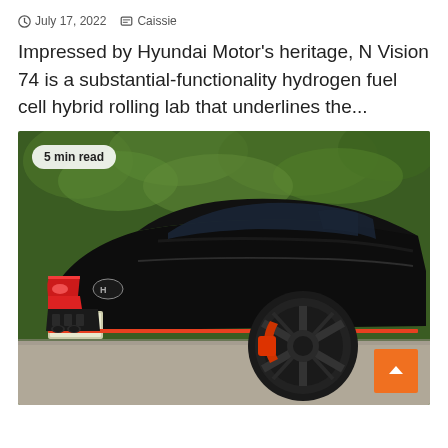July 17, 2022  Caissie
Impressed by Hyundai Motor's heritage, N Vision 74 is a substantial-functionality hydrogen fuel cell hybrid rolling lab that underlines the...
[Figure (photo): Rear three-quarter view of a black Hyundai hatchback (N-line/performance model) with red accent trim, large alloy wheels with red brake calipers, parked in front of green foliage. A '5 min read' badge overlays the top-left corner. An orange scroll-to-top button appears in the bottom-right corner.]